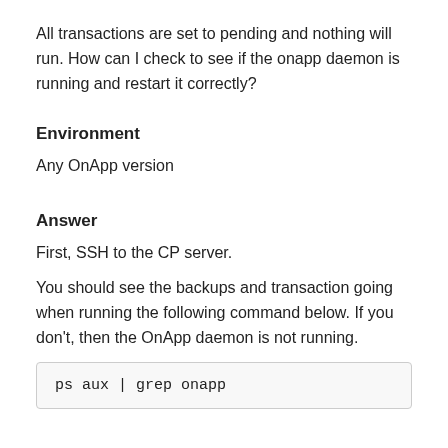All transactions are set to pending and nothing will run. How can I check to see if the onapp daemon is running and restart it correctly?
Environment
Any OnApp version
Answer
First, SSH to the CP server.
You should see the backups and transaction going when running the following command below. If you don't, then the OnApp daemon is not running.
ps aux | grep onapp